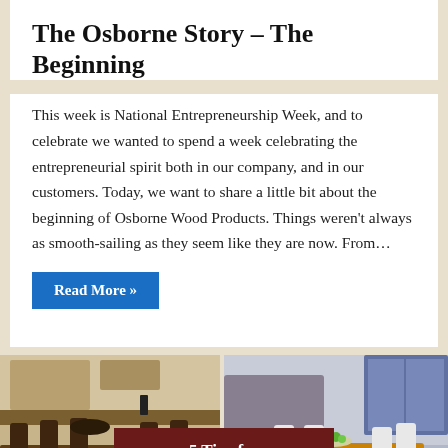The Osborne Story – The Beginning
This week is National Entrepreneurship Week, and to celebrate we wanted to spend a week celebrating the entrepreneurial spirit both in our company, and in our customers. Today, we want to share a little bit about the beginning of Osborne Wood Products. Things weren't always as smooth-sailing as they seem like they are now. From…
Read More »
[Figure (photo): Two side-by-side photos of wooden dining room furniture/tables in kitchen and room settings, with an overlay title box reading '5 Tips for Caring for a Wooden Table']